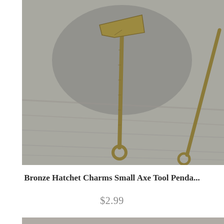[Figure (photo): Close-up photo of two bronze hatchet/axe tool charms on a gray stone and wood surface. The charms are small antique bronze colored pendants shaped like axes with loops for attaching to jewelry.]
Bronze Hatchet Charms Small Axe Tool Penda...
$2.99
[Figure (photo): Partial view of another product listing photo, showing what appears to be a round metal charm or pendant on a textured background.]